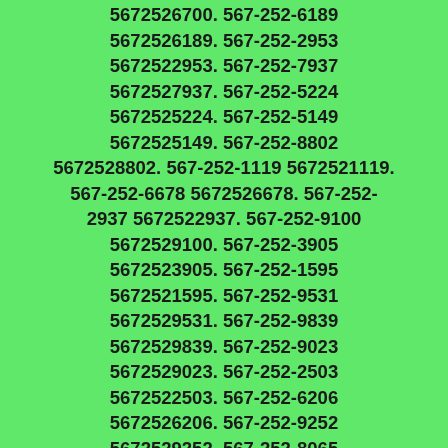5672526700. 567-252-6189 5672526189. 567-252-2953 5672522953. 567-252-7937 5672527937. 567-252-5224 5672525224. 567-252-5149 5672525149. 567-252-8802 5672528802. 567-252-1119 5672521119. 567-252-6678 5672526678. 567-252-2937 5672522937. 567-252-9100 5672529100. 567-252-3905 5672523905. 567-252-1595 5672521595. 567-252-9531 5672529531. 567-252-9839 5672529839. 567-252-9023 5672529023. 567-252-2503 5672522503. 567-252-6206 5672526206. 567-252-9252 5672529252. 567-252-8065 5672528065. 567-252-8797 5672528797. 567-252-5329 5672525329. 567-252-6951 5672526951. 567-252-1266 5672521266. 567-252-3744 5672523744. 567-252-4636 5672524636. 567-252-9605